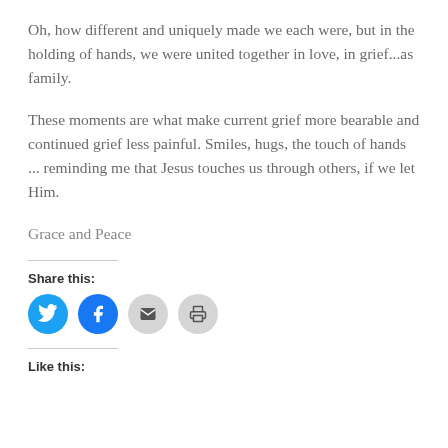Oh, how different and uniquely made we each were, but in the holding of hands, we were united together in love, in grief...as family.
These moments are what make current grief more bearable and continued grief less painful. Smiles, hugs, the touch of hands ... reminding me that Jesus touches us through others, if we let Him.
Grace and Peace
Share this:
[Figure (infographic): Social share icons: Twitter (blue circle), Facebook (blue circle), Email (grey circle), Print (grey circle)]
Like this: